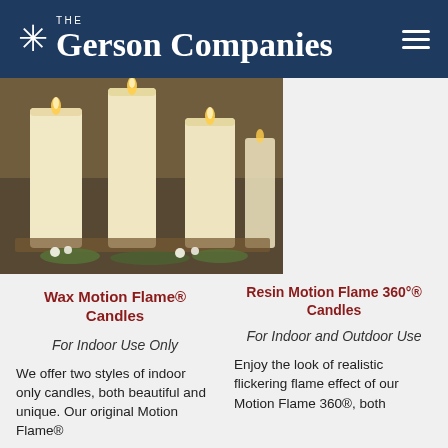The Gerson Companies
[Figure (photo): Group of cream-colored LED pillar candles with flickering flame effect, arranged on a wooden tray with small white flowers and greenery]
Wax Motion Flame® Candles
Resin Motion Flame 360°® Candles
For Indoor Use Only
For Indoor and Outdoor Use
We offer two styles of indoor only candles, both beautiful and unique. Our original Motion Flame®
Enjoy the look of realistic flickering flame effect of our Motion Flame 360®, both